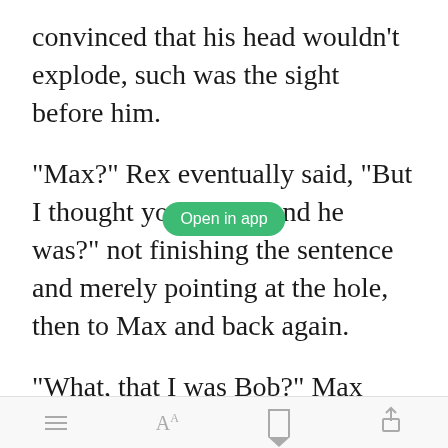convinced that his head wouldn’t explode, such was the sight before him.
“Max?” Rex eventually said, “But I thought you were? And he was?” not finishing the sentence and merely pointing at the hole, then to Max and back again.
“What, that I was Bob?” Max
[Figure (screenshot): Green 'Open in app' button overlay]
App navigation bar with menu, font size, bookmark, and share icons